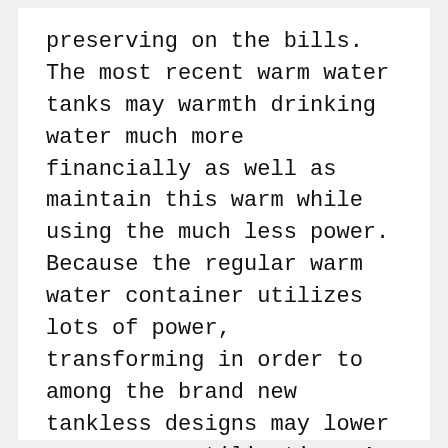preserving on the bills. The most recent warm water tanks may warmth drinking water much more financially as well as maintain this warm while using the much less power. Because the regular warm water container utilizes lots of power, transforming in order to among the brand new tankless designs may lower your power utilization. A person assist environmental surroundings as well as cut costs.
Subsequent tend to be a few eco-friendly plumbing related fittings to think about setting up in your house: